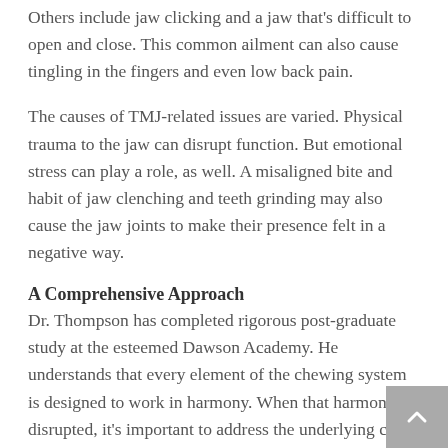Others include jaw clicking and a jaw that's difficult to open and close. This common ailment can also cause tingling in the fingers and even low back pain.
The causes of TMJ-related issues are varied. Physical trauma to the jaw can disrupt function. But emotional stress can play a role, as well. A misaligned bite and habit of jaw clenching and teeth grinding may also cause the jaw joints to make their presence felt in a negative way.
A Comprehensive Approach
Dr. Thompson has completed rigorous post-graduate study at the esteemed Dawson Academy. He understands that every element of the chewing system is designed to work in harmony. When that harmony is disrupted, it's important to address the underlying cause and not simply treat the symptoms.